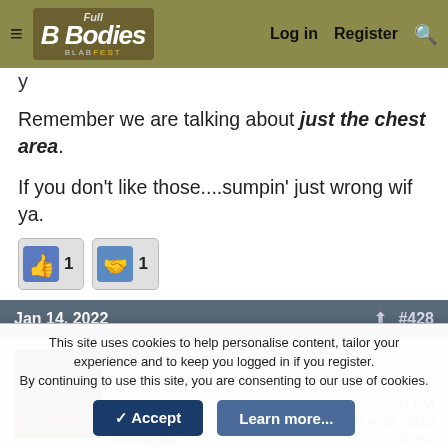Full B Bodies Discussion — Log in  Register
y
Remember we are talking about just the chest area.
If you don't like those....sumpin' just wrong wif ya.
Jan 14, 2022  #428
YY1
Well-Known Member
Local time: 4:01 PM
Joined: Jun 26, 2010
Messages: 20,982
Reaction score: 13,790
This site uses cookies to help personalise content, tailor your experience and to keep you logged in if you register. By continuing to use this site, you are consenting to our use of cookies.